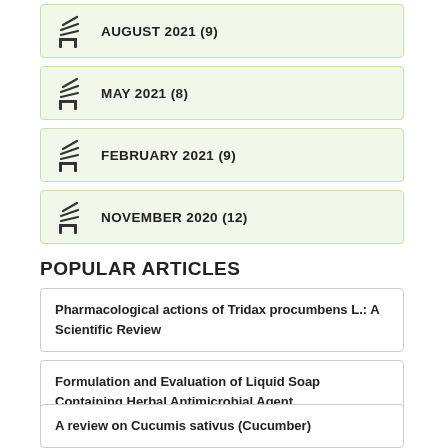AUGUST 2021 (9)
MAY 2021 (8)
FEBRUARY 2021 (9)
NOVEMBER 2020 (12)
POPULAR ARTICLES
Pharmacological actions of Tridax procumbens L.: A Scientific Review
Formulation and Evaluation of Liquid Soap Containing Herbal Antimicrobial Agent.
A review on Cucumis sativus (Cucumber)